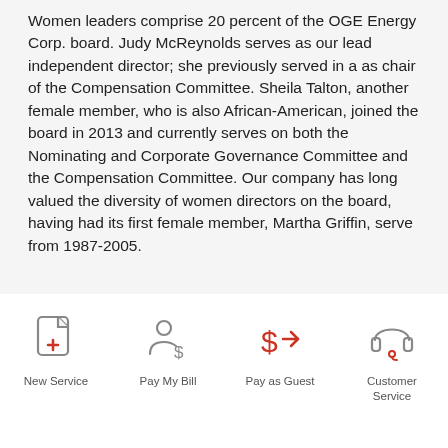Women leaders comprise 20 percent of the OGE Energy Corp. board. Judy McReynolds serves as our lead independent director; she previously served in a as chair of the Compensation Committee. Sheila Talton, another female member, who is also African-American, joined the board in 2013 and currently serves on both the Nominating and Corporate Governance Committee and the Compensation Committee. Our company has long valued the diversity of women directors on the board, having had its first female member, Martha Griffin, serve from 1987-2005.
[Figure (infographic): Footer navigation bar with four icons: New Service (document with plus), Pay My Bill (person with dollar sign), Pay as Guest (dollar sign with arrow), Customer Service (headset)]